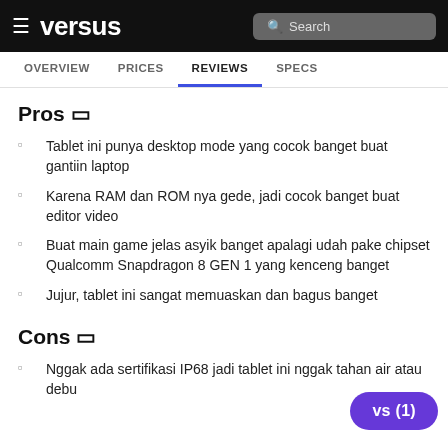versus — Search — OVERVIEW PRICES REVIEWS SPECS
Pros 🔖
Tablet ini punya desktop mode yang cocok banget buat gantiin laptop
Karena RAM dan ROM nya gede, jadi cocok banget buat editor video
Buat main game jelas asyik banget apalagi udah pake chipset Qualcomm Snapdragon 8 GEN 1 yang kenceng banget
Jujur, tablet ini sangat memuaskan dan bagus banget
Cons 🔖
Nggak ada sertifikasi IP68 jadi tablet ini nggak tahan air atau debu